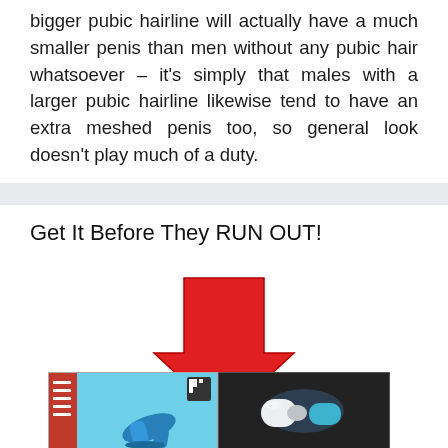bigger pubic hairline will actually have a much smaller penis than men without any pubic hair whatsoever – it's simply that males with a larger pubic hairline likewise tend to have an extra meshed penis too, so general look doesn't play much of a duty.
Get It Before They RUN OUT!
[Figure (illustration): A large red downward-pointing arrow above two product images: a blue device on a product box (left) and a blue and white device on a black background (right).]